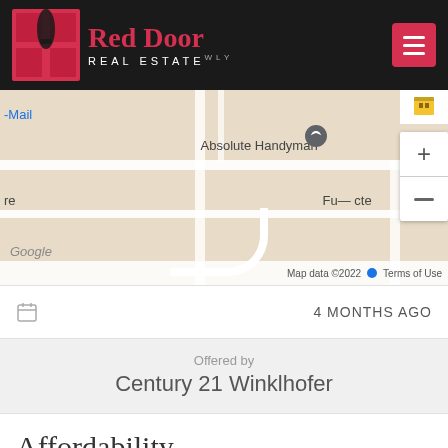[Figure (logo): Red Door Real Estate logo with red door icon on black background header bar with hamburger menu button]
[Figure (map): Google Maps screenshot showing location near Absolute Handyman with zoom controls, map data 2022]
4 MONTHS AGO
Offered by
Century 21 Winklhofer
Affordability